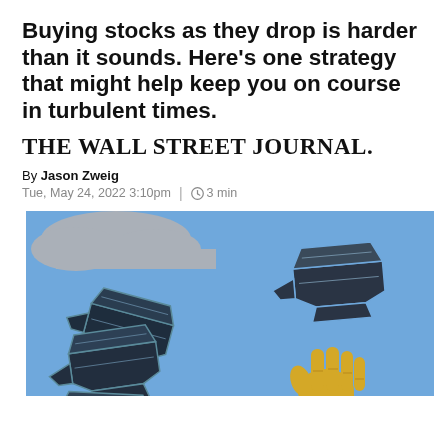Buying stocks as they drop is harder than it sounds. Here’s one strategy that might help keep you on course in turbulent times.
[Figure (logo): The Wall Street Journal logo in bold serif font]
By Jason Zweig
Tue, May 24, 2022 3:10pm | 3 min
[Figure (illustration): Illustration showing falling anvils against a blue sky background with a golden hand reaching up, and a grey cloud. Multiple dark anvils are stacked and falling, with one anvil floating in the upper right.]